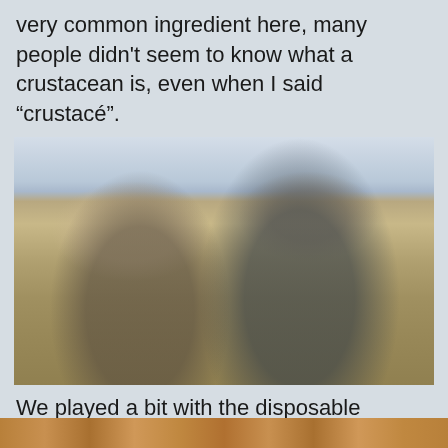very common ingredient here, many people didn't seem to know what a crustacean is, even when I said “crustacé”.
[Figure (photo): Two people taking a selfie-style photo on a rocky beach. The person on the left wears a large white cowboy/sun hat and a light grey shirt. The person on the right has curly hair and a beard, wearing a dark blue shirt, with their arm around the other person. The background shows a calm body of water and a pebbly/sandy shoreline under an overcast sky.]
We played a bit with the disposable camera on the way back.
[Figure (photo): Partial view of a photo strip at the bottom of the page, showing a warm-toned outdoor scene, partially cut off.]